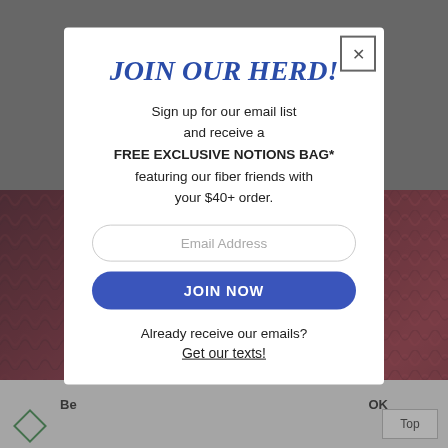[Figure (screenshot): Website popup modal on a blurred e-commerce background showing yarn products. Modal has a close button (X), headline, promotional text, email input, and join button.]
JOIN OUR HERD!
Sign up for our email list and receive a FREE EXCLUSIVE NOTIONS BAG* featuring our fiber friends with your $40+ order.
Email Address
JOIN NOW
Already receive our emails?
Get our texts!